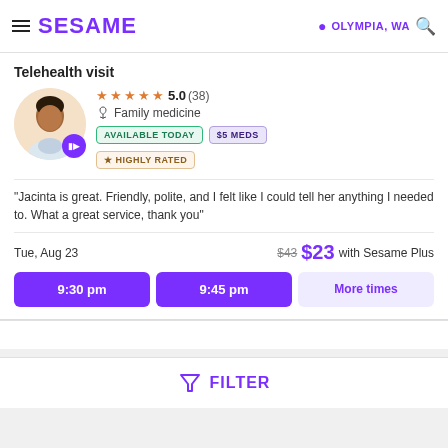SESAME   OLYMPIA, WA
Telehealth visit
★★★★★ 5.0 (38)
Family medicine
AVAILABLE TODAY  $5 MEDS
★ HIGHLY RATED
"Jacinta is great. Friendly, polite, and I felt like I could tell her anything I needed to. What a great service, thank you"
Tue, Aug 23   $43  $23 with Sesame Plus
9:30 pm   9:45 pm   More times
FILTER